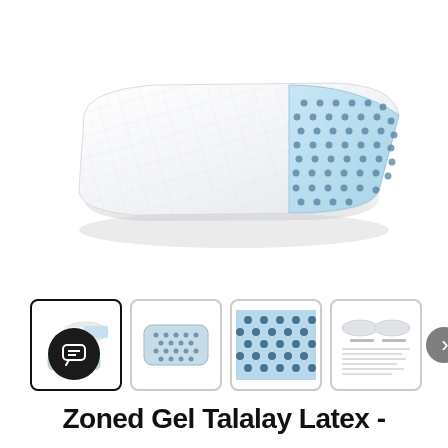[Figure (photo): Product photo of a pillow with white quilted cover on one side and light blue mesh/gel perforated material on the other side, shown at an angle on white background]
[Figure (photo): Thumbnail row showing 4 product images: 1) two pillow views side by side, 2) pillow front showing mesh pattern, 3) close-up of blue perforated material, 4) infographic comparing two pillow cross-sections. Also shows next arrow button and chat button overlay.]
Zoned Gel Talalay Latex -